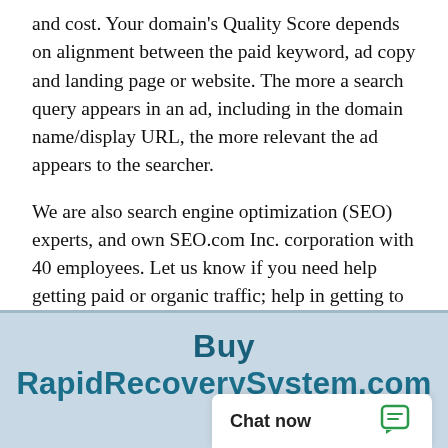and cost. Your domain's Quality Score depends on alignment between the paid keyword, ad copy and landing page or website. The more a search query appears in an ad, including in the domain name/display URL, the more relevant the ad appears to the searcher.
We are also search engine optimization (SEO) experts, and own SEO.com Inc. corporation with 40 employees. Let us know if you need help getting paid or organic traffic; help in getting to the top of Google.
Buy RapidRecoverySystem.com
Chat now